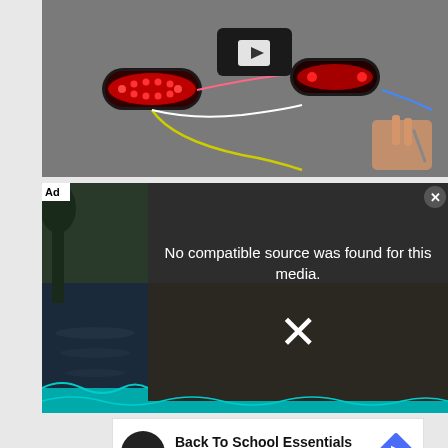[Figure (screenshot): Video thumbnail showing two red LED trailer lights on grey carpet with wiring, hands working on connections, and a play button overlay]
[Figure (screenshot): Ad video player with error message 'No compatible source was found for this media.' overlaid on a dark background with an X close button and background image of a boat]
[Figure (screenshot): Advertisement banner for 'Back To School Essentials - Leesburg Premium Outlets' with circular logo and navigation arrow icon]